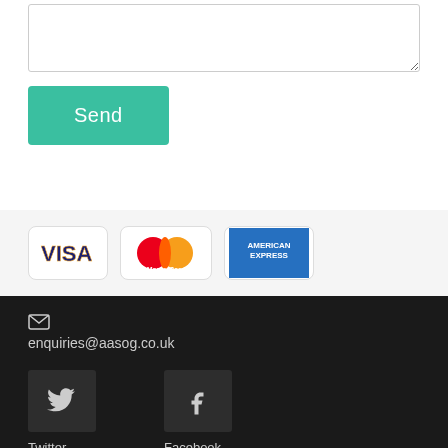[Figure (screenshot): Textarea input field for message]
[Figure (screenshot): Send button (teal/green background with white text 'Send')]
[Figure (logo): VISA payment card logo badge]
[Figure (logo): MasterCard payment card logo badge]
[Figure (logo): American Express payment card logo badge]
enquiries@aasog.co.uk
Twitter
Facebook
Instagram
Pinterest